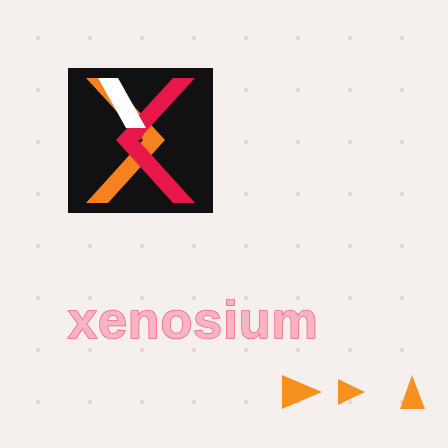[Figure (logo): Black square logo with an X shape made of orange, pink, and white diagonal stripes]
xenosium
[Figure (illustration): Three orange triangles pointing left and up, varying in size]